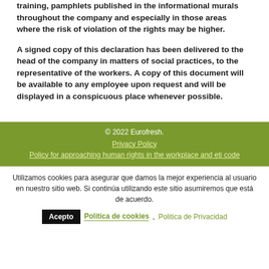training, pamphlets published in the informational murals throughout the company and especially in those areas where the risk of violation of the rights may be higher.
A signed copy of this declaration has been delivered to the head of the company in matters of social practices, to the representative of the workers. A copy of this document will be available to any employee upon request and will be displayed in a conspicuous place whenever possible.
© 2022 Eurofresh.
Privacy Policy
Policy for approaching human rights in the workplace and eti code
Utilizamos cookies para asegurar que damos la mejor experiencia al usuario en nuestro sitio web. Si continúa utilizando este sitio asumiremos que está de acuerdo.
Acepto  Politica de cookies , Politica de Privacidad